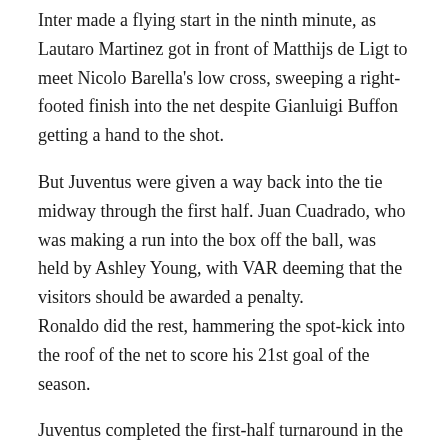Inter made a flying start in the ninth minute, as Lautaro Martinez got in front of Matthijs de Ligt to meet Nicolo Barella's low cross, sweeping a right-footed finish into the net despite Gianluigi Buffon getting a hand to the shot.
But Juventus were given a way back into the tie midway through the first half. Juan Cuadrado, who was making a run into the box off the ball, was held by Ashley Young, with VAR deeming that the visitors should be awarded a penalty. Ronaldo did the rest, hammering the spot-kick into the roof of the net to score his 21st goal of the season.
Juventus completed the first-half turnaround in the 35th minute, as a terrible mix-up between Alessandro Bastoni and Inter goalkeeper Samir Handanovic allowed Ronaldo to slide in his second goal from a tight angle.